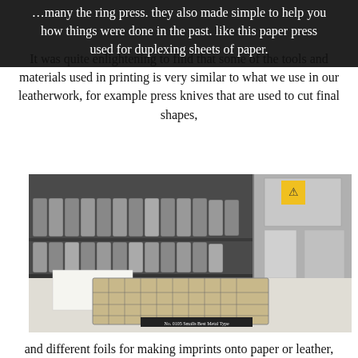...many the ring press. they also made simple to help you how things were done in the past. like this paper press used for duplexing sheets of paper.
It was quite enlightening to find that some of the tools and materials used in printing is very similar to what we use in our leatherwork, for example press knives that are used to cut final shapes,
[Figure (photo): A printing workshop showing shelves stacked with many cans of printing ink in various colors, and on the right a paper cutting/press machine with red and green buttons. In the foreground there is a flat metal type-setting tray with grid compartments labeled 'No. 0105 Smalls Best Metal Type'.]
and different foils for making imprints onto paper or leather,